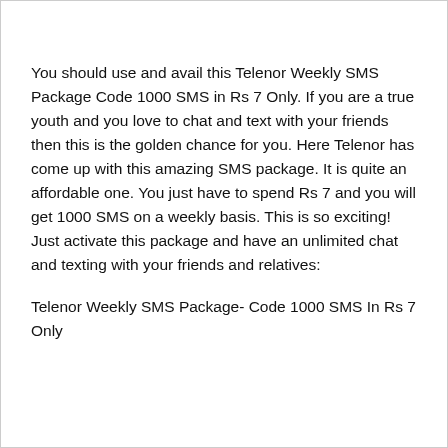You should use and avail this Telenor Weekly SMS Package Code 1000 SMS in Rs 7 Only. If you are a true youth and you love to chat and text with your friends then this is the golden chance for you. Here Telenor has come up with this amazing SMS package. It is quite an affordable one. You just have to spend Rs 7 and you will get 1000 SMS on a weekly basis. This is so exciting! Just activate this package and have an unlimited chat and texting with your friends and relatives:
Telenor Weekly SMS Package- Code 1000 SMS In Rs 7 Only